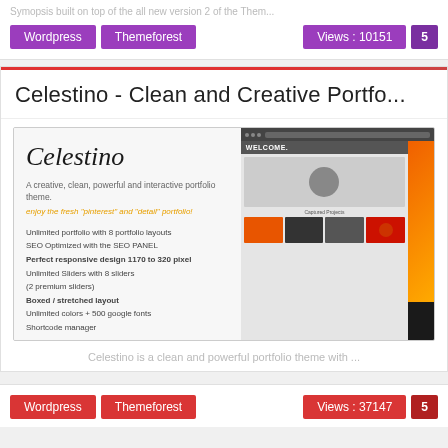Symopsis built on top of the all new version 2 of the Them...
Wordpress
Themeforest
Views : 10151
5
Celestino - Clean and Creative Portfo...
[Figure (screenshot): Screenshot of Celestino WordPress theme preview showing logo, feature list, and browser mockup with welcome screen]
A creative, clean, powerful and interactive portfolio theme. enjoy the fresh "pinterest" and "detail" portfolio!
Unlimited portfolio with 8 portfolio layouts
SEO Optimized with the SEO PANEL
Perfect responsive design 1170 to 320 pixel
Unlimited Sliders with 8 sliders
(2 premium sliders)
Boxed / stretched layout
Unlimited colors + 500 google fonts
Shortcode manager
Celestino is a clean and powerful portfolio theme with ...
Wordpress
Themeforest
Views : 37147
5